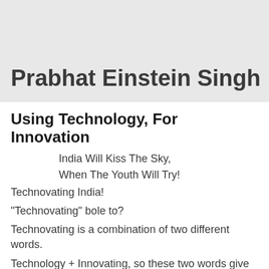Prabhat Einstein Singh
Using Technology, For Innovation
India Will Kiss The Sky,
When The Youth Will Try!
Technovating India!
"Technovating" bole to?
Technovating is a combination of two different words.
Technology + Innovating, so these two words give us the following meaning...